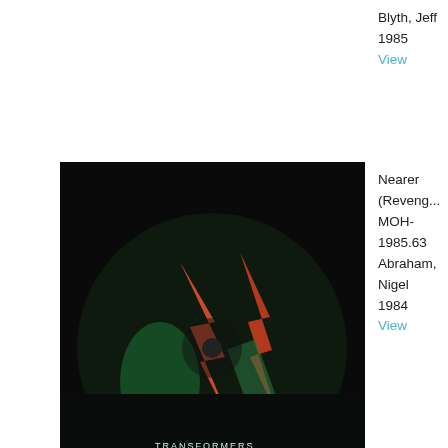Blyth, Jeff
1985
View
[Figure (photo): Album/record cover with circular graphic showing colorful abstract design with orange and green shapes on dark background]
Nearer (Reveng...
MOH-1985.63
Abraham, Nigel
1984
View
[Figure (photo): Album/record cover with blue-green misty atmospheric design with text reading TRANSFORMERS at top]
Transformers
MOH-1985.64.0...
Clarke, Walter
1985
View
Transformers
MOH-1985.64.0...
Clarke, Walter
1985